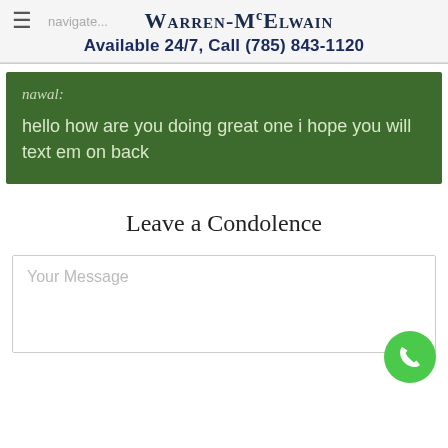Warren-McElwain
Available 24/7, Call (785) 843-1120
nawal:
hello how are you doing great one i hope you will text em on back
Leave a Condolence
Your Message